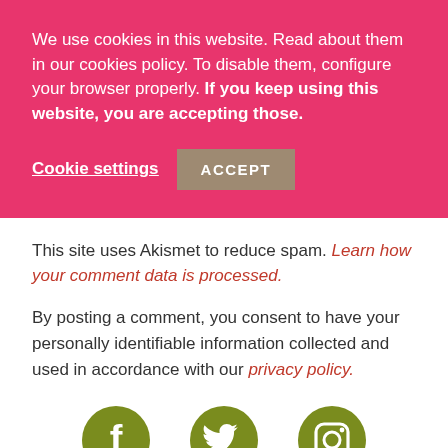We use cookies in this website. Read about them in our cookies policy. To disable them, configure your browser properly. If you keep using this website, you are accepting those.
Cookie settings
ACCEPT
This site uses Akismet to reduce spam. Learn how your comment data is processed.
By posting a comment, you consent to have your personally identifiable information collected and used in accordance with our privacy policy.
[Figure (logo): Social media icons: Facebook, Twitter, Instagram in olive/green color circles, partially visible at bottom of page]